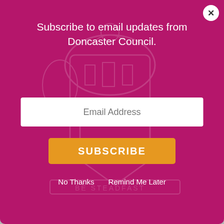[Figure (screenshot): Modal popup overlay on Doncaster Council website with pink/magenta background, Doncaster coat of arms watermark, email subscription form with email address input, subscribe button, and No Thanks / Remind Me Later links]
Subscribe to email updates from Doncaster Council.
Email Address
SUBSCRIBE
No Thanks   Remind Me Later
A-Z   Enter search here   SEARCH
APPLY   REPORT   PAY   TRACK
Home | Children, young people & families | Parenting Programmes
TRANSLATE   BOOKMARK